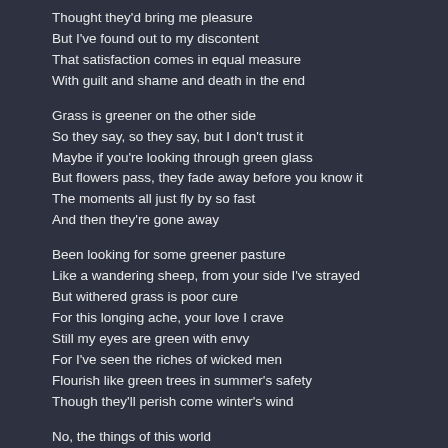Thought they'd bring me pleasure
But I've found out to my discontent
That satisfaction comes in equal measure
With guilt and shame and death in the end
Grass is greener on the other side
So they say, so they say, but I don't trust it
Maybe if you're looking through green glass
But flowers pass, they fade away before you know it
The moments all just fly by so fast
And then they're gone away
Been looking for some greener pasture
Like a wandering sheep, from your side I've strayed
But withered grass is poor cure
For this longing ache, your love I crave
Still my eyes are green with envy
For I've seen the riches of wicked men
Flourish like green trees in summer's safety
Though they'll perish come winter's wind
No, the things of this world